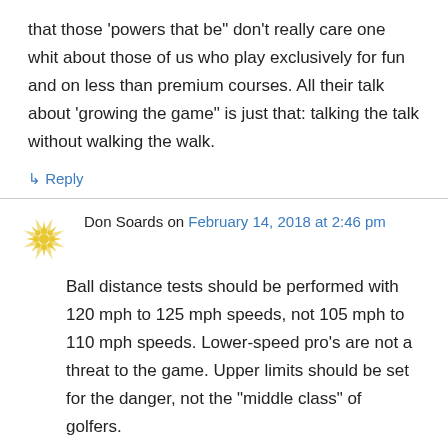that those ‘powers that be” don’t really care one whit about those of us who play exclusively for fun and on less than premium courses. All their talk about ‘growing the game” is just that: talking the talk without walking the walk.
↳ Reply
Don Soards on February 14, 2018 at 2:46 pm
Ball distance tests should be performed with 120 mph to 125 mph speeds, not 105 mph to 110 mph speeds. Lower-speed pro’s are not a threat to the game. Upper limits should be set for the danger, not the “middle class” of golfers.
↳ Reply